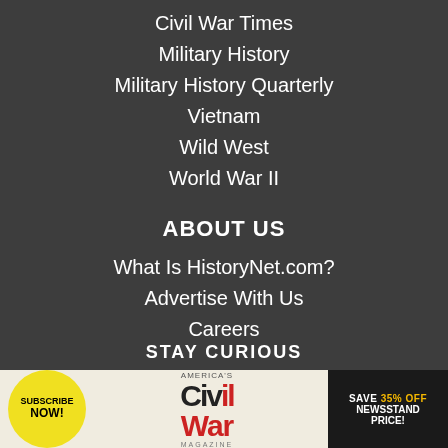Civil War Times
Military History
Military History Quarterly
Vietnam
Wild West
World War II
ABOUT US
What Is HistoryNet.com?
Advertise With Us
Careers
Contact Us
Meet Our Staff!
STAY CURIOUS
[Figure (infographic): Advertisement banner for America's Civil War Magazine with Subscribe Now button, magazine logo, and Save 35% Off Newsstand Price offer]